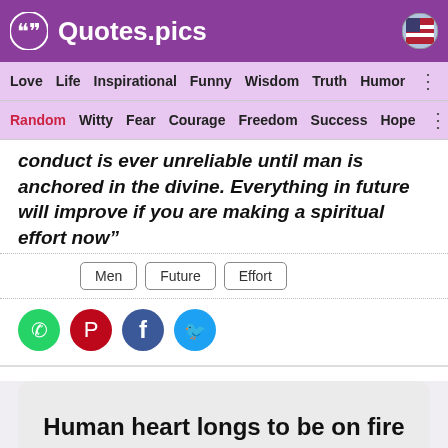Quotes.pics
Love  Life  Inspirational  Funny  Wisdom  Truth  Humor
Random  Witty  Fear  Courage  Freedom  Success  Hope
conduct is ever unreliable until man is anchored in the divine. Everything in future will improve if you are making a spiritual effort now”
Men
Future
Effort
[Figure (illustration): Social sharing icons: WhatsApp (green), Pinterest (red), Facebook (blue), Twitter (light blue)]
Human heart longs to be on fire without reason
Sadhguru